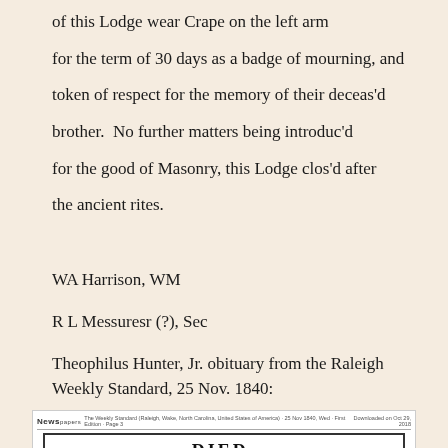of this Lodge wear Crape on the left arm for the term of 30 days as a badge of mourning, and token of respect for the memory of their deceas'd brother.  No further matters being introduc'd for the good of Masonry, this Lodge clos'd after the ancient rites.
WA Harrison, WM
R L Messuresr (?), Sec
Theophilus Hunter, Jr. obituary from the Raleigh Weekly Standard, 25 Nov. 1840:
[Figure (screenshot): Newspaper clipping header from 'Newspapers' showing The Weekly Standard, Raleigh, Wake, North Carolina, United States of America, 25 Nov 1840, Wed, First Edition, Page 3, Downloaded on Oct 29, 2018. Below is a box with the heading 'DIED.' in large bold serif font.]